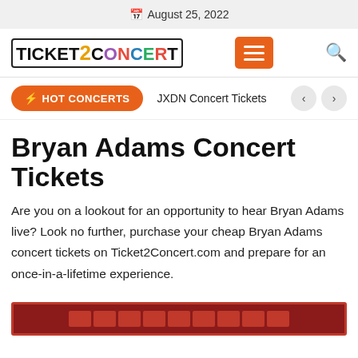August 25, 2022
[Figure (logo): Ticket2Concert logo with colorful letters and border]
JXDN Concert Tickets
Bryan Adams Concert Tickets
Are you on a lookout for an opportunity to hear Bryan Adams live? Look no further, purchase your cheap Bryan Adams concert tickets on Ticket2Concert.com and prepare for an once-in-a-lifetime experience.
[Figure (other): Red banner at the bottom of the page]